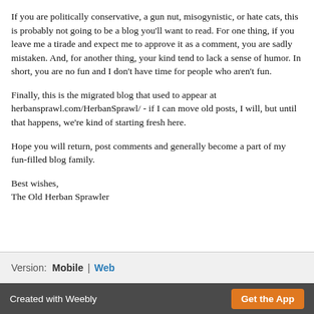If you are politically conservative, a gun nut, misogynistic, or hate cats, this is probably not going to be a blog you'll want to read. For one thing, if you leave me a tirade and expect me to approve it as a comment, you are sadly mistaken. And, for another thing, your kind tend to lack a sense of humor. In short, you are no fun and I don't have time for people who aren't fun.
Finally, this is the migrated blog that used to appear at herbansprawl.com/HerbanSprawl/ - if I can move old posts, I will, but until that happens, we're kind of starting fresh here.
Hope you will return, post comments and generally become a part of my fun-filled blog family.
Best wishes,
The Old Herban Sprawler
Version: Mobile | Web
Created with Weebly   Get the App